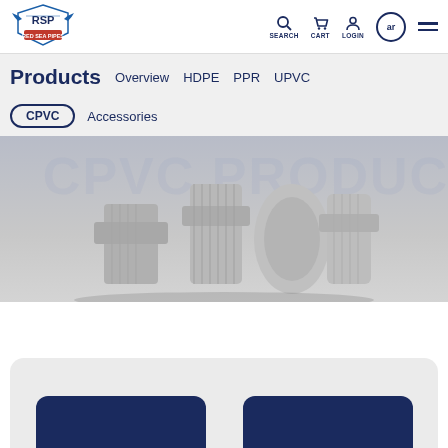[Figure (logo): RSP Red Sea Pipes logo with blue eagle/wing emblem and red text strip]
SEARCH   CART   LOGIN   ar   ≡
Products   Overview   HDPE   PPR   UPVC
CPVC   Accessories
[Figure (photo): 3D render of grey CPVC pipe fittings/couplings on grey background with watermark text CPVC PRODUCTS]
[Figure (other): Two dark navy blue rounded rectangle card buttons at bottom of page on light grey card container]